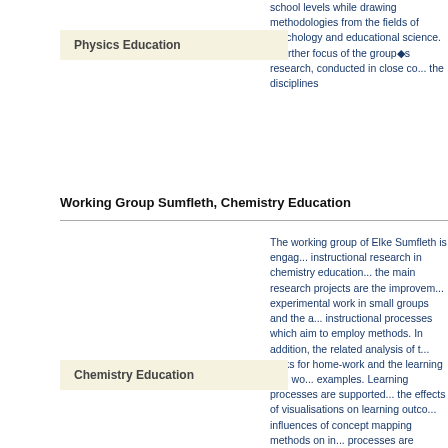school levels while drawing methodologies from the fields of psychology and educational science. A further focus of the group’s research, conducted in close co...the disciplines
Physics Education
Working Group Sumfleth, Chemistry Education
The working group of Elke Sumfleth is engaged in instructional research in chemistry education...the main research projects are the improvement of experimental work in small groups and the analysis of instructional processes which aim to employ methods. In addition, the related analysis of tasks for home-work and the learning with worked-out examples. Learning processes are supported by the effects of visualisations on learning outcomes and the influences of concept mapping methods on instructional processes are
Chemistry Education